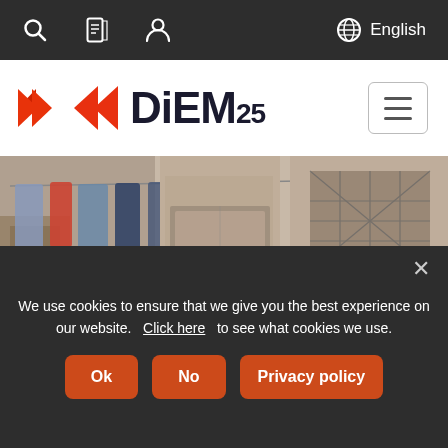Search | Document | User | English (language selector)
[Figure (logo): DiEM25 logo with red double-arrow chevrons and hamburger menu button]
[Figure (photo): Photo of three young people sitting in front of a weathered building with laundry hanging outside]
We use cookies to ensure that we give you the best experience on our website.   Click here   to see what cookies we use.
Ok | No | Privacy policy